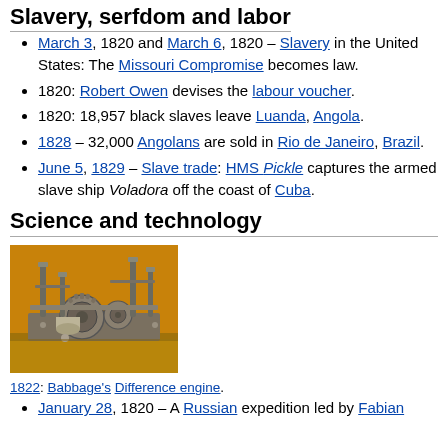Slavery, serfdom and labor
March 3, 1820 and March 6, 1820 – Slavery in the United States: The Missouri Compromise becomes law.
1820: Robert Owen devises the labour voucher.
1820: 18,957 black slaves leave Luanda, Angola.
1828 – 32,000 Angolans are sold in Rio de Janeiro, Brazil.
June 5, 1829 – Slave trade: HMS Pickle captures the armed slave ship Voladora off the coast of Cuba.
Science and technology
[Figure (photo): Photograph of Babbage's Difference Engine mechanical computing device, showing brass gears, cylinders and rods on a wooden base with orange/yellow background]
1822: Babbage's Difference engine.
January 28, 1820 – A Russian expedition led by Fabian